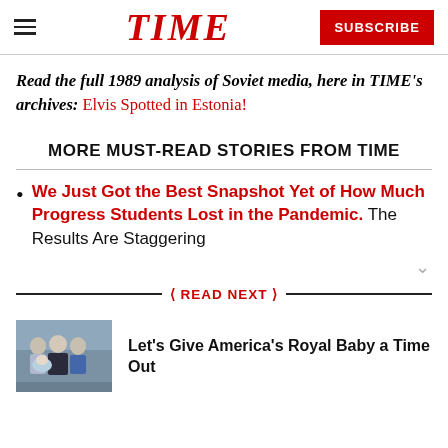TIME | SUBSCRIBE
Read the full 1989 analysis of Soviet media, here in TIME's archives: Elvis Spotted in Estonia!
MORE MUST-READ STORIES FROM TIME
We Just Got the Best Snapshot Yet of How Much Progress Students Lost in the Pandemic. The Results Are Staggering
READ NEXT
[Figure (photo): Group of people posing for a photo, including a person holding a baby]
Let's Give America's Royal Baby a Time Out